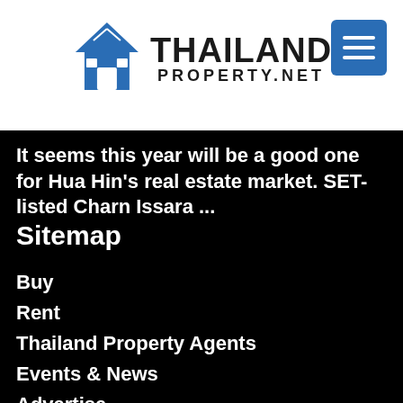[Figure (logo): Thailand Property.NET logo with house icon and blue text]
It seems this year will be a good one for Hua Hin's real estate market. SET-listed Charn Issara ...
Sitemap
Buy
Rent
Thailand Property Agents
Events & News
Advertise
Register or Login
Contact
Privacy Policy
Terms of Service